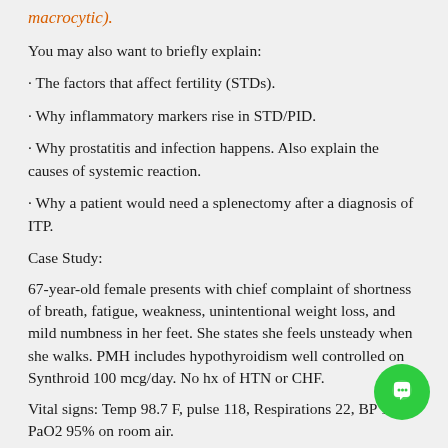macrocytic).
You may also want to briefly explain:
· The factors that affect fertility (STDs).
· Why inflammatory markers rise in STD/PID.
· Why prostatitis and infection happens. Also explain the causes of systemic reaction.
· Why a patient would need a splenectomy after a diagnosis of ITP.
Case Study:
67-year-old female presents with chief complaint of shortness of breath, fatigue, weakness, unintentional weight loss, and mild numbness in her feet. She states she feels unsteady when she walks. PMH includes hypothyroidism well controlled on Synthroid 100 mcg/day. No hx of HTN or CHF.
Vital signs: Temp 98.7 F, pulse 118, Respirations 22, BP 1 PaO2 95% on room air.
Physical exam revealed pale, anxious female appearing older